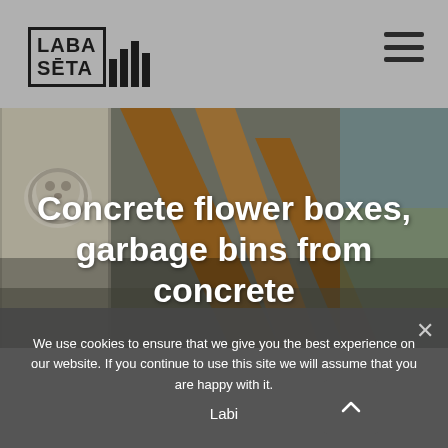LABA SĒTA
[Figure (photo): Close-up photo of a concrete structure with a lion head relief and wooden beam elements; outdoor urban furniture in the background]
Concrete flower boxes, garbage bins from concrete
We use cookies to ensure that we give you the best experience on our website. If you continue to use this site we will assume that you are happy with it.
Labi